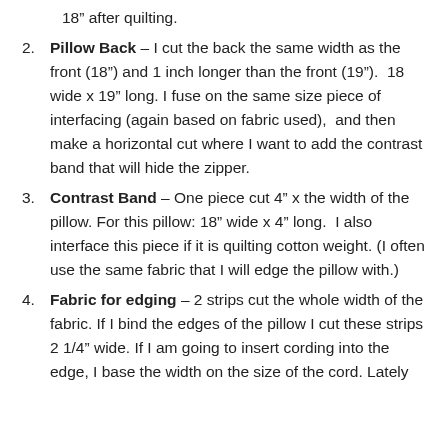18” after quilting.
Pillow Back – I cut the back the same width as the front (18”) and 1 inch longer than the front (19”).  18 wide x 19” long. I fuse on the same size piece of interfacing (again based on fabric used),  and then make a horizontal cut where I want to add the contrast band that will hide the zipper.
Contrast Band – One piece cut 4” x the width of the pillow. For this pillow: 18” wide x 4” long.  I also interface this piece if it is quilting cotton weight. (I often use the same fabric that I will edge the pillow with.)
Fabric for edging – 2 strips cut the whole width of the fabric. If I bind the edges of the pillow I cut these strips 2 1/4” wide. If I am going to insert cording into the edge, I base the width on the size of the cord. Lately